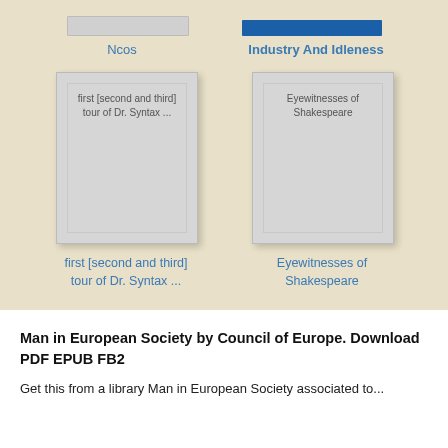[Figure (screenshot): Partial book cover strip for 'Ncos' (gray) at top left]
[Figure (screenshot): Partial book cover strip for 'Industry And Idleness' (dark blue) at top right]
Ncos
Industry And Idleness
[Figure (illustration): Book card placeholder for 'first [second and third] tour of Dr. Syntax ...' with inner border and title text]
[Figure (illustration): Book card placeholder for 'Eyewitnesses of Shakespeare' with inner border and title text]
first [second and third] tour of Dr. Syntax ...
Eyewitnesses of Shakespeare
Man in European Society by Council of Europe. Download PDF EPUB FB2
Get this from a library Man in European Society associated to...